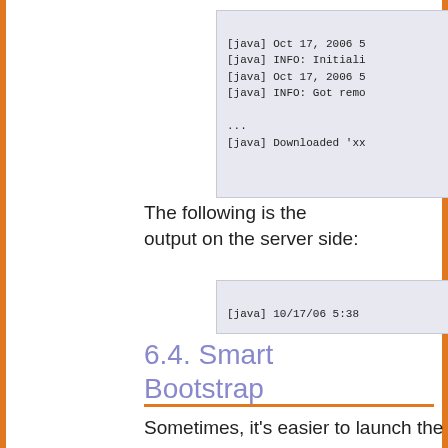[Figure (screenshot): Code block showing java log output: [java] Oct 17, 2006 5... [java] INFO: Initiali... [java] Oct 17, 2006 5... [java] INFO: Got remo... ... [java] Downloaded 'xx...]
The following is the output on the server side:
[Figure (screenshot): Code block showing: [java] 10/17/06 5:38 ...]
6.4. Smart Bootstrap
Sometimes, it's easier to launch the client with a bootstrap class instead of setting a factory. Then, the smart component is providing also a bootstrap class.